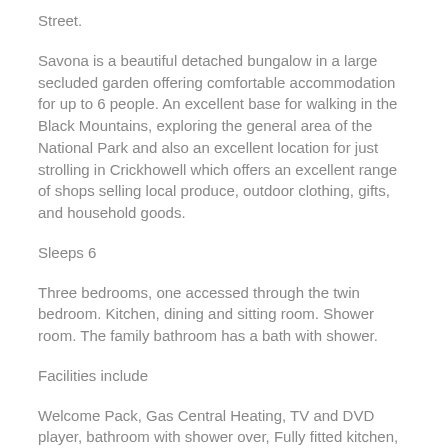Street.
Savona is a beautiful detached bungalow in a large secluded garden offering comfortable accommodation for up to 6 people. An excellent base for walking in the Black Mountains, exploring the general area of the National Park and also an excellent location for just strolling in Crickhowell which offers an excellent range of shops selling local produce, outdoor clothing, gifts, and household goods.
Sleeps 6
Three bedrooms, one accessed through the twin bedroom. Kitchen, dining and sitting room. Shower room. The family bathroom has a bath with shower.
Facilities include
Welcome Pack, Gas Central Heating, TV and DVD player, bathroom with shower over, Fully fitted kitchen, Separate Shower Room, Parking for 2/3 cars, Garden furniture, Large secluded garden, Short breaks available, Saturday to Saturday changeover.